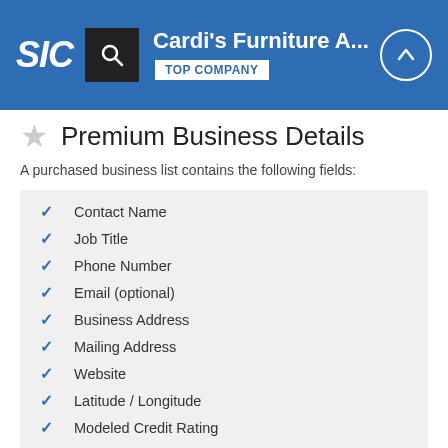SIC | Cardi's Furniture A... | TOP COMPANY
Premium Business Details
A purchased business list contains the following fields:
Contact Name
Job Title
Phone Number
Email (optional)
Business Address
Mailing Address
Website
Latitude / Longitude
Modeled Credit Rating
Square Footage
Public / Private